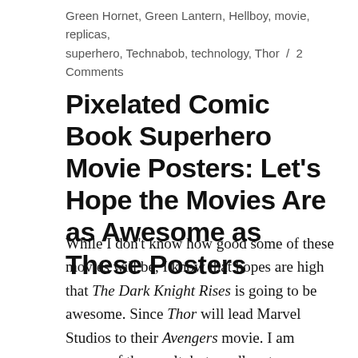Green Hornet, Green Lantern, Hellboy, movie, replicas, superhero, Technabob, technology, Thor / 2 Comments
Pixelated Comic Book Superhero Movie Posters: Let’s Hope the Movies Are as Awesome as These Posters
While I don’t know how good some of these movies will be, I know that hopes are high that The Dark Knight Rises is going to be awesome. Since Thor will lead Marvel Studios to their Avengers movie. I am unsure of the result, but needless to say these pseudo- pixel posters for